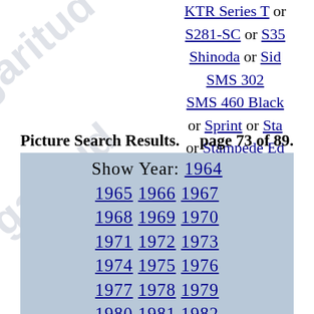KTR Series T or S281-SC or S35... Shinoda or Sid... SMS 302... SMS 460 Black... or Sprint or Sta... or Stampede Ed... or Super Snake... Reduce to only... or Hardtop or H... Su...
Picture Search Results.    page 73 of 89.
Show Year: 1964 1965 1966 1967 1968 1969 1970 1971 1972 1973 1974 1975 1976 1977 1978 1979 1980 1981 1982 1983 1984 1985 1986 1987 1988 1989 1990 1991 1992 1993 1994 1995 1996 1997